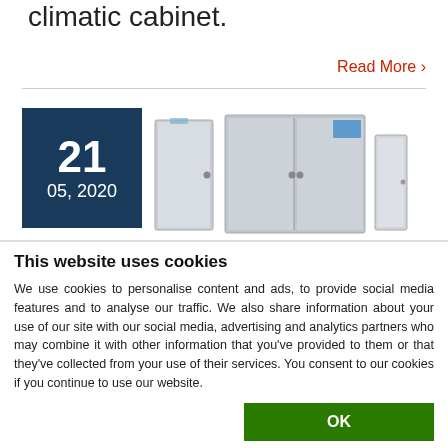climatic cabinet.
Read More ›
[Figure (photo): Date block showing 21 / 05, 2020 on dark blue background alongside images of stainless steel climatic cabinets/refrigerators]
This website uses cookies
We use cookies to personalise content and ads, to provide social media features and to analyse our traffic. We also share information about your use of our site with our social media, advertising and analytics partners who may combine it with other information that you've provided to them or that they've collected from your use of their services. You consent to our cookies if you continue to use our website.
OK
| ✓ Necessary | ✓ Preferences | ✓ Statistics | Show details ∨ |
| Marketing |  |  |  |